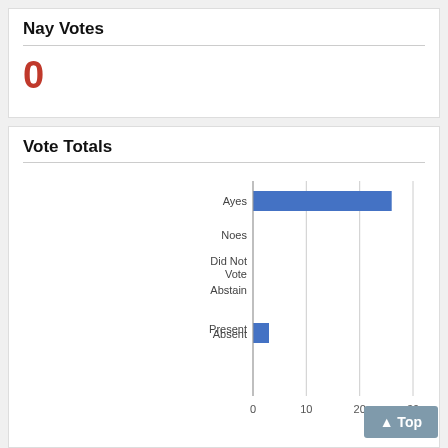Nay Votes
0
Vote Totals
[Figure (bar-chart): Vote Totals]